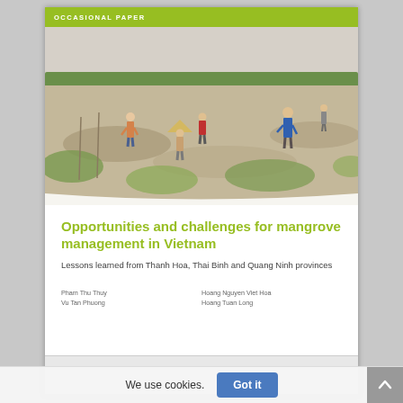OCCASIONAL PAPER
[Figure (photo): Outdoor scene showing several people working in a mangrove coastal mudflat area. Workers wearing traditional Vietnamese hats and casual clothing are scattered across the landscape. The background shows a treeline of mangrove vegetation. Sunny day with hazy sky.]
Opportunities and challenges for mangrove management in Vietnam
Lessons learned from Thanh Hoa, Thai Binh and Quang Ninh provinces
Pham Thu Thuy
Vu Tan Phuong
Hoang Nguyen Viet Hoa
Hoang Tuan Long